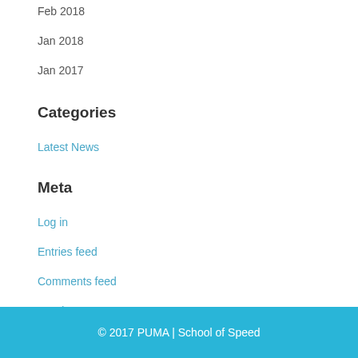Feb 2018
Jan 2018
Jan 2017
Categories
Latest News
Meta
Log in
Entries feed
Comments feed
WordPress.org
© 2017 PUMA | School of Speed